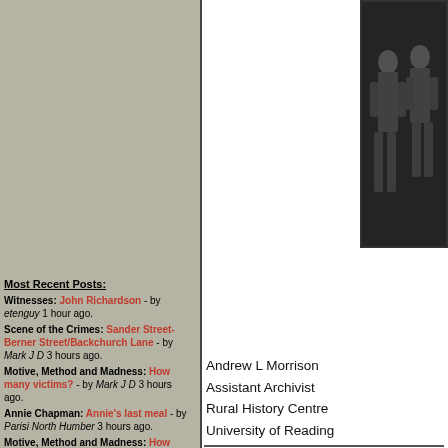Most Recent Posts:
Witnesses: John Richardson - by etenguy 1 hour ago.
Scene of the Crimes: Sander Street-Berner Street/Backchurch Lane - by Mark J D 3 hours ago.
Motive, Method and Madness: How many victims? - by Mark J D 3 hours ago.
Annie Chapman: Annie's last meal - by Parisi North Humber 3 hours ago.
Motive, Method and Madness: How many victims? - by Harry D 3 hours ago.
Scene of the Crimes: Sander Street-Berner Street/Backchurch Lane - by MrBarnett 4 hours ago.
Mary Ann Nichols: Mrs Nichols anniversary - by Padywe 4 hours ago.
[Figure (photo): Black and white historical photograph of two men in Victorian-era clothing]
Andrew L Morrison
Assistant Archivist
Rural History Centre
University of Reading
Related pages:
Andrew Morrison
Dissertations: A Mystery Play : Police Opinions on Jack th...
Dissertations: Stephen White, Amos Simpson and Eddowe...